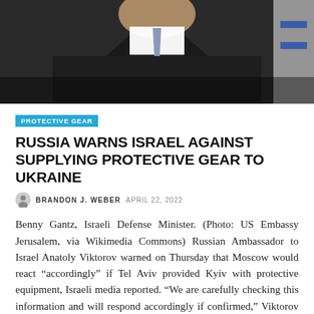[Figure (photo): Man in dark suit with blue-grey tie, partial view, with what appears to be an Israeli flag in the background on the right side.]
PROTECTIVE GEAR
RUSSIA WARNS ISRAEL AGAINST SUPPLYING PROTECTIVE GEAR TO UKRAINE
BRANDON J. WEBER  APRIL 22, 2022
Benny Gantz, Israeli Defense Minister. (Photo: US Embassy Jerusalem, via Wikimedia Commons) Russian Ambassador to Israel Anatoly Viktorov warned on Thursday that Moscow would react “accordingly” if Tel Aviv provided Kyiv with protective equipment, Israeli media reported. “We are carefully checking this information and will respond accordingly if confirmed,” Viktorov told Russian state television. The ...